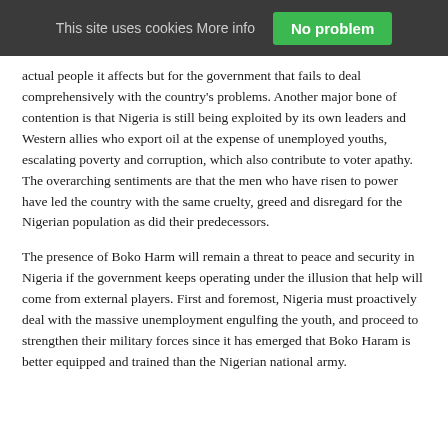This site uses cookies More info | No problem
actual people it affects but for the government that fails to deal comprehensively with the country's problems. Another major bone of contention is that Nigeria is still being exploited by its own leaders and Western allies who export oil at the expense of unemployed youths, escalating poverty and corruption, which also contribute to voter apathy. The overarching sentiments are that the men who have risen to power have led the country with the same cruelty, greed and disregard for the Nigerian population as did their predecessors.
The presence of Boko Harm will remain a threat to peace and security in Nigeria if the government keeps operating under the illusion that help will come from external players. First and foremost, Nigeria must proactively deal with the massive unemployment engulfing the youth, and proceed to strengthen their military forces since it has emerged that Boko Haram is better equipped and trained than the Nigerian national army.